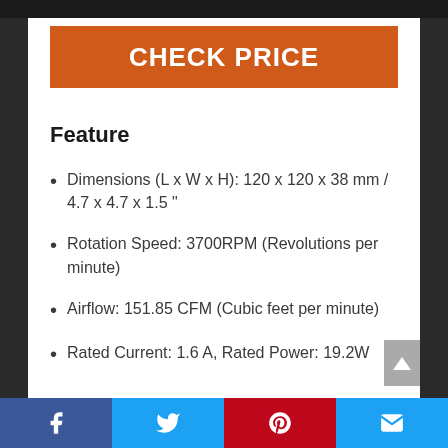[Figure (photo): Top portion of a dark product image, cropped at top of page]
CHECK PRICE
Feature
Dimensions (L x W x H): 120 x 120 x 38 mm / 4.7 x 4.7 x 1.5 "
Rotation Speed: 3700RPM (Revolutions per minute)
Airflow: 151.85 CFM (Cubic feet per minute)
Rated Current: 1.6 A, Rated Power: 19.2W
Social share bar: Facebook, Twitter, Pinterest, Email